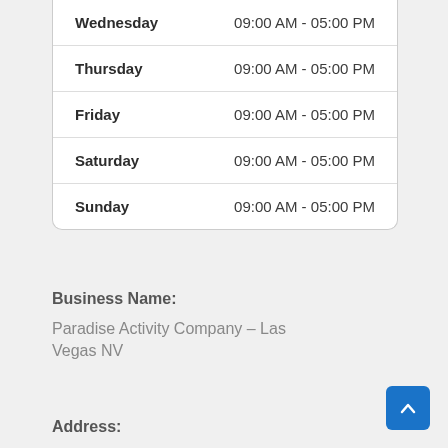| Day | Hours |
| --- | --- |
| Wednesday | 09:00 AM - 05:00 PM |
| Thursday | 09:00 AM - 05:00 PM |
| Friday | 09:00 AM - 05:00 PM |
| Saturday | 09:00 AM - 05:00 PM |
| Sunday | 09:00 AM - 05:00 PM |
Business Name:
Paradise Activity Company – Las Vegas NV
Address: